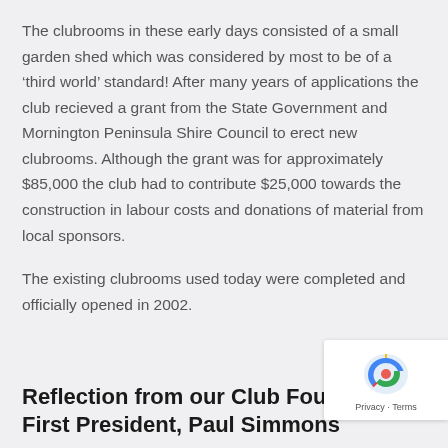The clubrooms in these early days consisted of a small garden shed which was considered by most to be of a 'third world' standard!  After many years of applications the club recieved a grant from the State Government and Mornington Peninsula Shire Council to erect new clubrooms.  Although the grant was for approximately $85,000 the club had to contribute $25,000 towards the construction in labour costs and donations of material from local sponsors.
The existing clubrooms used today were completed and officially opened in 2002.
Reflection from our Club Founder & First President, Paul Simmons